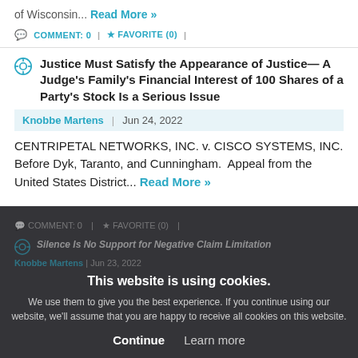of Wisconsin... Read More »
COMMENT: 0 | FAVORITE (0) |
Justice Must Satisfy the Appearance of Justice— A Judge's Family's Financial Interest of 100 Shares of a Party's Stock Is a Serious Issue
Knobbe Martens | Jun 24, 2022
CENTRIPETAL NETWORKS, INC. v. CISCO SYSTEMS, INC. Before Dyk, Taranto, and Cunningham. Appeal from the United States District... Read More »
COMMENT: 0 | FAVORITE (0) |
Silence Is No Support for Negative Claim Limitation
Knobbe Martens | Jun 23, 2022
This website is using cookies. We use them to give you the best experience. If you continue using our website, we'll assume that you are happy to receive all cookies on this website. Continue Learn more